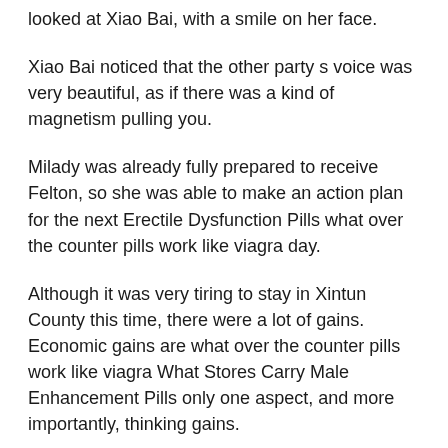looked at Xiao Bai, with a smile on her face.
Xiao Bai noticed that the other party s voice was very beautiful, as if there was a kind of magnetism pulling you.
Milady was already fully prepared to receive Felton, so she was able to make an action plan for the next Erectile Dysfunction Pills what over the counter pills work like viagra day.
Although it was very tiring to stay in Xintun County this time, there were a lot of gains. Economic gains are what over the counter pills work like viagra What Stores Carry Male Enhancement Pills only one aspect, and more importantly, thinking gains.